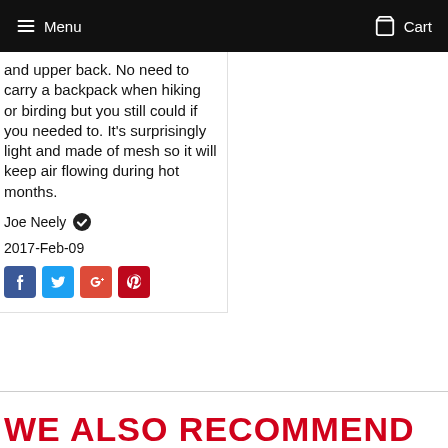Menu   Cart
and upper back. No need to carry a backpack when hiking or birding but you still could if you needed to. It's surprisingly light and made of mesh so it will keep air flowing during hot months.
Joe Neely ✓
2017-Feb-09
[Figure (other): Social sharing icons: Facebook, Twitter, Google+, Pinterest]
WE ALSO RECOMMEND